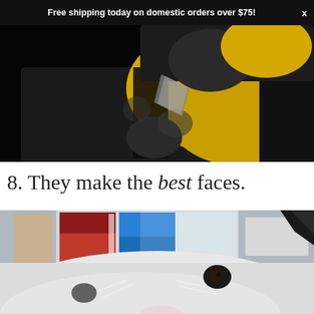Free shipping today on domestic orders over $75!
[Figure (photo): A cat wearing a yellow and black bumblebee costume, photographed against a dark background]
8. They make the best faces.
[Figure (photo): A close-up of a black and white cat's face pressed very close to the camera, with a colorful screen/monitor visible in the background]